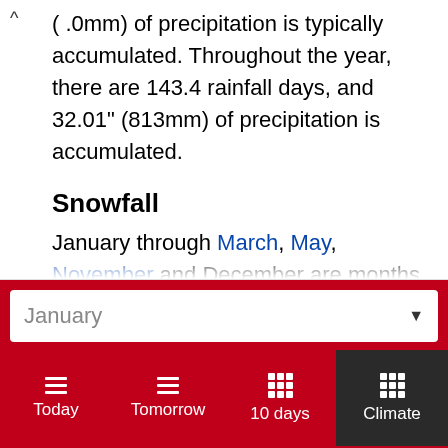(.0mm) of precipitation is typically accumulated. Throughout the year, there are 143.4 rainfall days, and 32.01" (813mm) of precipitation is accumulated.
Snowfall
January through March, May, November and December are months with snowfall. In Joplin, during January, snow falls for 3.5 days and regularly aggregates up to 1.5" (38mm) of snow. In Joplin, during the entire year, snow falls for 11.8 days and aggregates up to 5.62" (143mm) of snow.
January
Today  Tomorrow  10 days  Climate